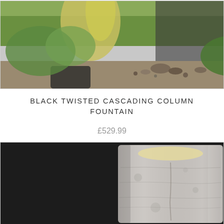[Figure (photo): Garden scene with plants and rocks, partially cropped at top]
BLACK TWISTED CASCADING COLUMN FOUNTAIN
£529.99
[Figure (photo): Gray stone/granite column fountain photographed against dark background]